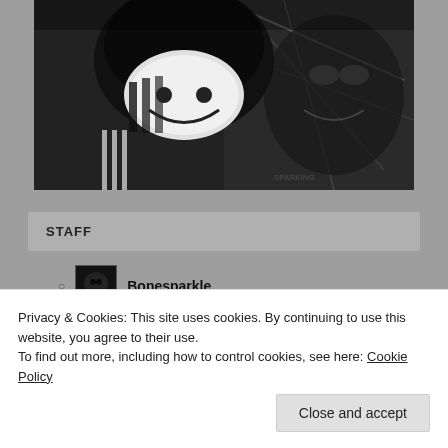[Figure (photo): Black and white photo of two figures, one wearing a hoodie with a graphic face covering and the other appearing as a distressed/textured image of a face. Dark, moody aesthetic.]
STAFF
Bonesparkle
Privacy & Cookies: This site uses cookies. By continuing to use this website, you agree to their use.
To find out more, including how to control cookies, see here: Cookie Policy